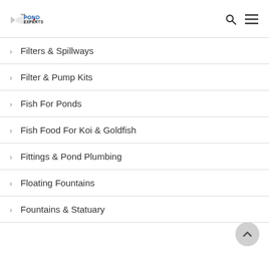The Pond Experts
Filters & Spillways
Filter & Pump Kits
Fish For Ponds
Fish Food For Koi & Goldfish
Fittings & Pond Plumbing
Floating Fountains
Fountains & Statuary